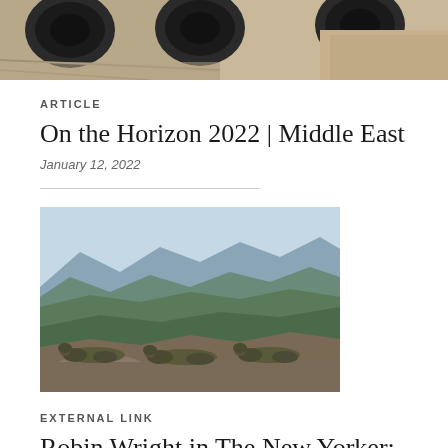[Figure (photo): Top banner photo showing military helicopter interiors or equipment, partially visible at the top of the page, with tan/brown tones]
ARTICLE
On the Horizon 2022 | Middle East
January 12, 2022
[Figure (photo): Soldiers in camouflage uniforms lying on rocky terrain overlooking a green mountainous valley, viewed from behind]
EXTERNAL LINK
Robin Wright in The New Yorker: "U.S.